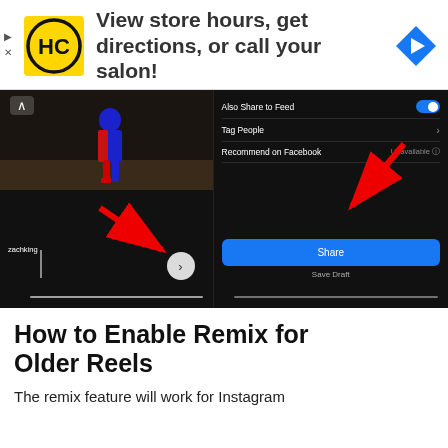[Figure (screenshot): Advertisement banner with HC logo, text 'View store hours, get directions, or call your salon!', and a blue navigation arrow icon. Small ad controls (play and close icons) on the left.]
[Figure (screenshot): Two side-by-side Instagram Reels screenshots. Left: dark screen with a spiderman figure at top, zachking label, a red arrow pointing to a next/chevron circle button. Right: Instagram share screen showing 'Also Share to Feed' toggle on, 'Tag People' row, 'Recommend on Facebook' row showing 'Unavailable', a red arrow pointing to a blue 'Share' button, and 'Save Draft' below.]
How to Enable Remix for Older Reels
The remix feature will work for Instagram